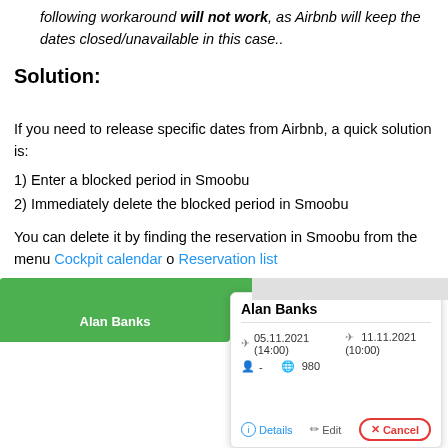following workaround will not work, as Airbnb will keep the dates closed/unavailable in this case..
Solution:
If you need to release specific dates from Airbnb, a quick solution is:
1) Enter a blocked period in Smoobu
2) Immediately delete the blocked period in Smoobu
You can delete it by finding the reservation in Smoobu from the menu Cockpit calendar o Reservation list
[Figure (screenshot): Screenshot of Smoobu calendar showing a reservation for Alan Banks with a popup displaying dates 05.11.2021 (14:00) to 11.11.2021 (10:00) and options for Details, Edit, and Cancel]